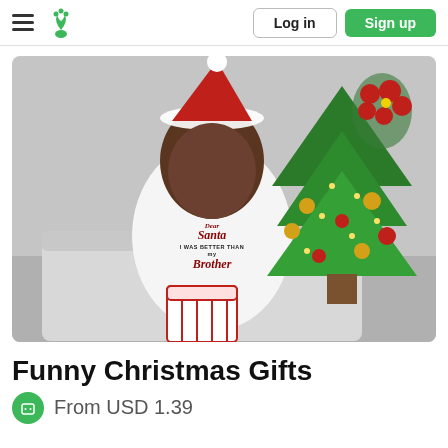Log in | Sign up
[Figure (photo): A smiling child wearing a Santa hat and a white t-shirt that reads 'Dear Santa I Was Better Than My Brother', holding a Christmas gift bag, with a decorated Christmas tree and red poinsettia flowers in the background.]
Funny Christmas Gifts
From USD 1.39